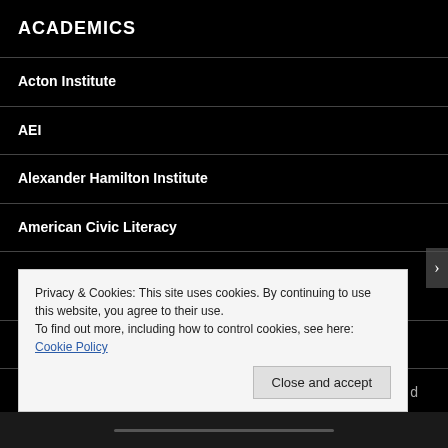ACADEMICS
Acton Institute
AEI
Alexander Hamilton Institute
American Civic Literacy
American Mind Academics Warning of the Dangers of Marxism/Communism
Big Sky Politics
Bill of Rights Institute Educational resources on our founding d[ocuments]
Privacy & Cookies: This site uses cookies. By continuing to use this website, you agree to their use.
To find out more, including how to control cookies, see here: Cookie Policy
Close and accept